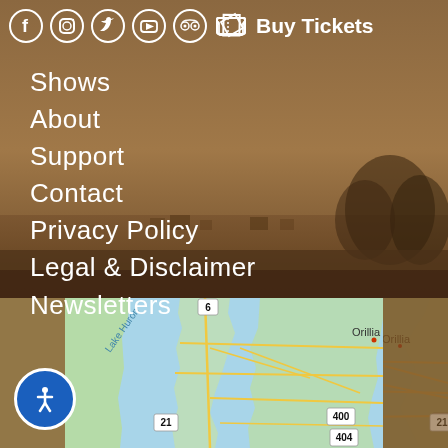[Figure (screenshot): Social media icons row: Facebook, Instagram, Twitter, YouTube, TripAdvisor, ticket icon, Buy Tickets text — all white on brown background]
Shows
About
Support
Contact
Privacy Policy
Legal & Disclaimer
Newsletters
[Figure (map): Google Maps view showing Lake Huron on the left, road network with routes 6, 21, 400, 404, and the town of Orillia on the right. Teal/green land areas with yellow roads on light blue water.]